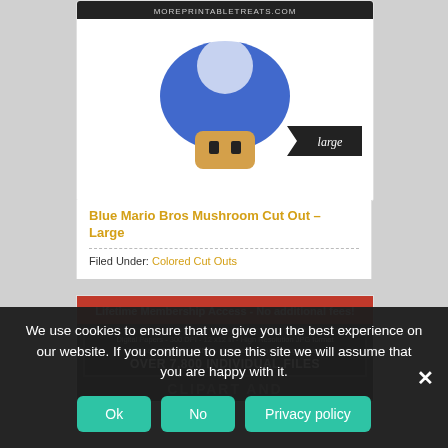[Figure (illustration): Blue Mario Bros mushroom (Toad character) cut out illustration with 'large' banner tag, from moreprintabletreats.com]
Blue Mario Bros Mushroom Cut Out – Large
Filed Under: Colored Cut Outs
[Figure (infographic): Advertisement banner: 'Lifetime Membership Access - No additional fees!' with details about Digital Papers 300 DPI 12x12 in High Resolution JPG format, Clipart 300 DPI PNG clear background large size, OVER 7,800 INDIVIDUAL FILES, CLIPART AND text visible]
We use cookies to ensure that we give you the best experience on our website. If you continue to use this site we will assume that you are happy with it.
Ok
No
Privacy policy